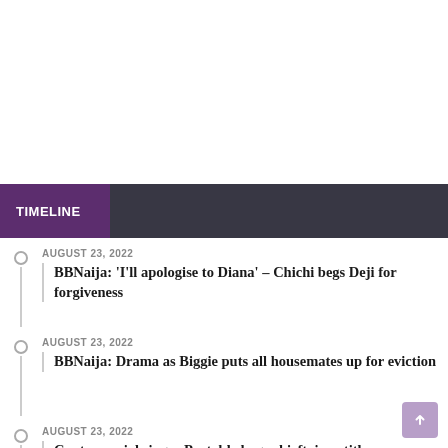TIMELINE
AUGUST 23, 2022
BBNaija: 'I'll apologise to Diana' – Chichi begs Deji for forgiveness
AUGUST 23, 2022
BBNaija: Drama as Biggie puts all housemates up for eviction
AUGUST 23, 2022
Controversial singer Portable bags chieftaincy title